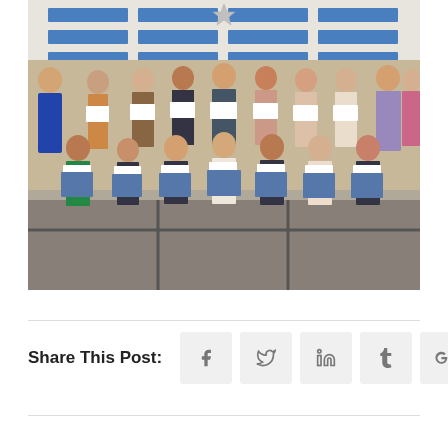[Figure (photo): Group photo of students holding certificates and blue folders on a stage, with adults standing behind them, in front of a Peace Islands Art Ocean backdrop banner.]
Share This Post: